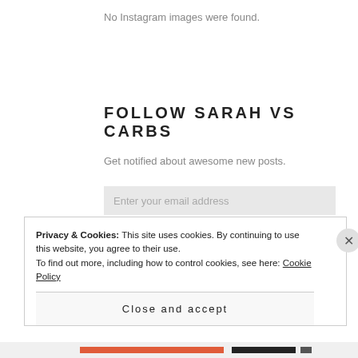No Instagram images were found.
FOLLOW SARAH VS CARBS
Get notified about awesome new posts.
Enter your email address
FOLLOW
Privacy & Cookies: This site uses cookies. By continuing to use this website, you agree to their use.
To find out more, including how to control cookies, see here: Cookie Policy
Close and accept